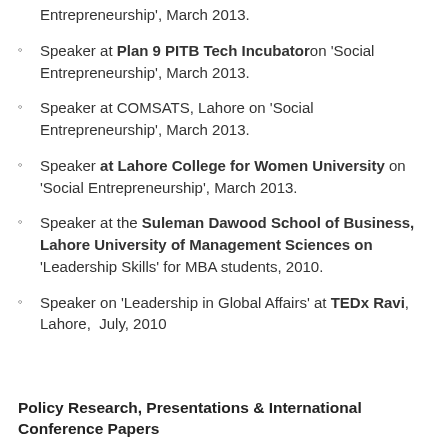Entrepreneurship', March 2013.
Speaker at Plan 9 PITB Tech Incubator on 'Social Entrepreneurship', March 2013.
Speaker at COMSATS, Lahore on 'Social Entrepreneurship', March 2013.
Speaker at Lahore College for Women University on 'Social Entrepreneurship', March 2013.
Speaker at the Suleman Dawood School of Business, Lahore University of Management Sciences on 'Leadership Skills' for MBA students, 2010.
Speaker on 'Leadership in Global Affairs' at TEDx Ravi, Lahore, July, 2010
Policy Research, Presentations & International Conference Papers